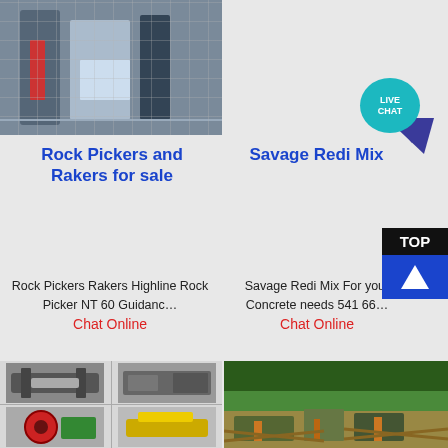[Figure (photo): Industrial machinery/equipment photo - left column top]
[Figure (photo): Industrial crusher machinery photo - right column top with live chat bubble]
Rock Pickers and Rakers for sale
Savage Redi Mix
Rock Pickers Rakers Highline Rock Picker NT 60 Guidanc…
Chat Online
Savage Redi Mix For your Concrete needs 541 66…
Chat Online
[Figure (photo): Grid of 4 small industrial crushing machinery images]
[Figure (photo): Quarry/mining site with machinery and green hills]